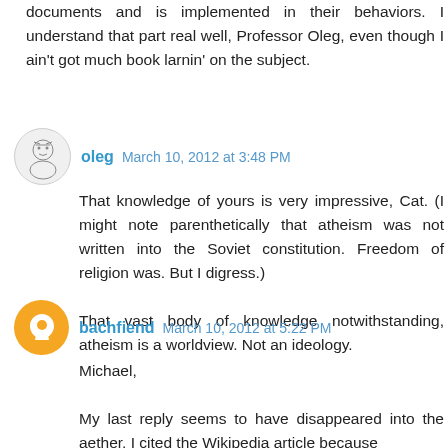documents and is implemented in their behaviors. I understand that part real well, Professor Oleg, even though I ain't got much book larnin' on the subject.
oleg  March 10, 2012 at 3:48 PM
That knowledge of yours is very impressive, Cat. (I might note parenthetically that atheism was not written into the Soviet constitution. Freedom of religion was. But I digress.)
That vast body of knowledge notwithstanding, atheism is a worldview. Not an ideology.
bachfiend  March 10, 2012 at 5:22 PM
Michael,
My last reply seems to have disappeared into the aether. I cited the Wikipedia article because